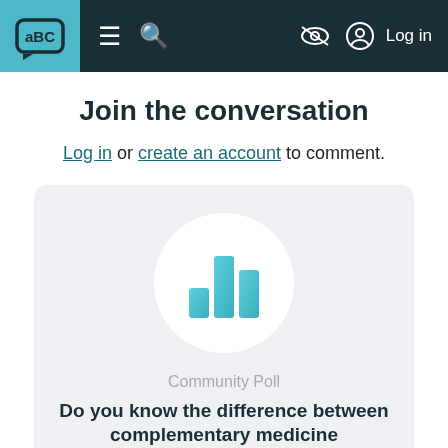aBC | ≡ 🔍 | Log in
Join the conversation
Log in or create an account to comment.
[Figure (illustration): Bar chart icon with three teal/blue bars of varying heights inside a white circle on a light grey card background]
Community Poll
Do you know the difference between complementary medicine and alternative medicine?